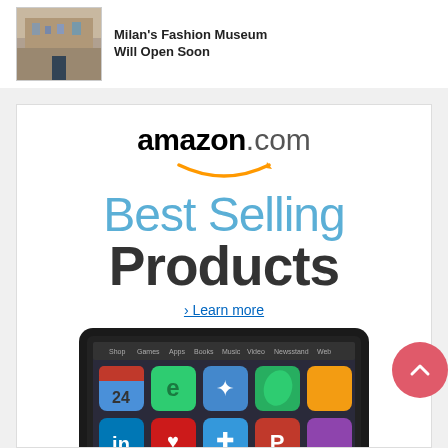[Figure (photo): Thumbnail image of a building (fashion museum)]
Milan's Fashion Museum Will Open Soon
[Figure (infographic): Amazon.com Best Selling Products advertisement banner featuring amazon logo, 'Best Selling Products' text in large letters, a 'Learn more' link, and a Kindle Fire tablet device showing app icons]
> Learn more